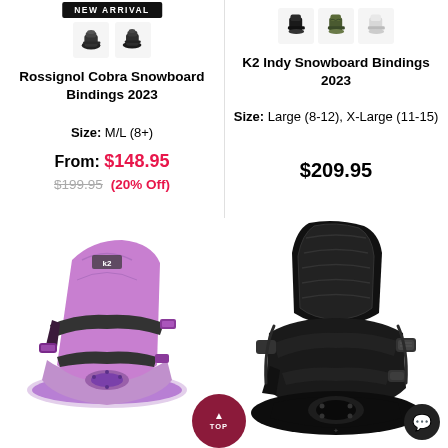[Figure (other): NEW ARRIVAL banner badge above Rossignol product]
[Figure (other): Two small thumbnail images of Rossignol Cobra Snowboard Bindings in different colors]
Rossignol Cobra Snowboard Bindings 2023
Size: M/L (8+)
From: $148.95
$199.95 (20% Off)
[Figure (other): Three small thumbnail images of K2 Indy Snowboard Bindings in different colors (black, olive, white/silver)]
K2 Indy Snowboard Bindings 2023
Size: Large (8-12), X-Large (11-15)
$209.95
[Figure (photo): Purple K2 snowboard binding product photo, bottom-left of page]
[Figure (photo): Black snowboard binding product photo, bottom-right of page]